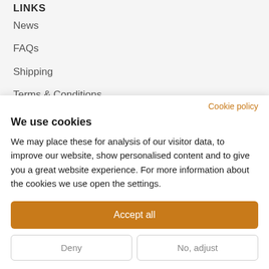LINKS
News
FAQs
Shipping
Terms & Conditions
Privacy Policy
Counterfeit Policy
Cookie policy
We use cookies
We may place these for analysis of our visitor data, to improve our website, show personalised content and to give you a great website experience. For more information about the cookies we use open the settings.
Accept all
Deny
No, adjust